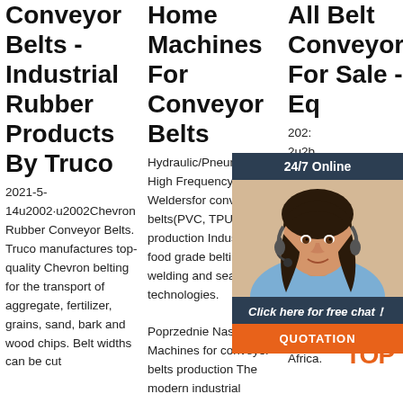Conveyor Belts - Industrial Rubber Products By Truco
2021-5-14u2002·u2002Chevron Rubber Conveyor Belts. Truco manufactures top-quality Chevron belting for the transport of aggregate, fertilizer, grains, sand, bark and wood chips. Belt widths can be cut
Home Machines For Conveyor Belts
Hydraulic/Pneumatic High Frequency Weldersfor conveyor belts(PVC, TPU, PU) production Industrial and food grade belting welding and sealing technologies. Poprzednie Następne Machines for conveyor belts production The modern industrial
All Belt Conveyor For Sale - Equipment
2021 2u2b Con Quick Indu Atta Con Care Trucks/Fork Lifts; Rough Terrain Lift Trucks/Fork Lifts;... Europe Middle East Africa.
[Figure (screenshot): Chat widget overlay showing '24/7 Online' header bar, female customer service agent photo, 'Click here for free chat!' message bar, and orange QUOTATION button]